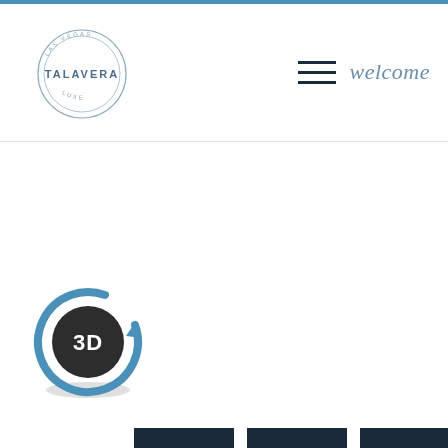[Figure (logo): Talavera circular logo with text TALAVERA in steel blue color, circular stamp-style border]
welcome
[Figure (illustration): 3D rotation icon — dark circular badge with '3D' text in white, surrounded by blue circular arrow indicating 3D rotation/view]